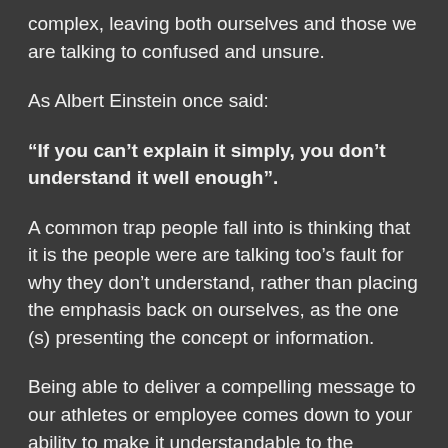complex, leaving both ourselves and those we are talking to confused and unsure.
As Albert Einstein once said:
“If you can’t explain it simply, you don’t understand it well enough”.
A common trap people fall into is thinking that it is the people were are talking too’s fault for why they don’t understand, rather than placing the emphasis back on ourselves, as the one (s) presenting the concept or information.
Being able to deliver a compelling message to our athletes or employee comes down to your ability to make it understandable to the audience you are speaking or writing to. It is common for coaches to send their athletes off with a task and for them to